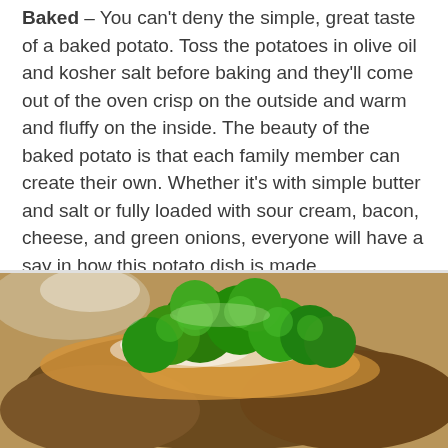Baked – You can't deny the simple, great taste of a baked potato. Toss the potatoes in olive oil and kosher salt before baking and they'll come out of the oven crisp on the outside and warm and fluffy on the inside. The beauty of the baked potato is that each family member can create their own. Whether it's with simple butter and salt or fully loaded with sour cream, bacon, cheese, and green onions, everyone will have a say in how this potato dish is made.
[Figure (photo): Close-up photo of a baked potato topped with broccoli, melted cheese, and other toppings on a plate]